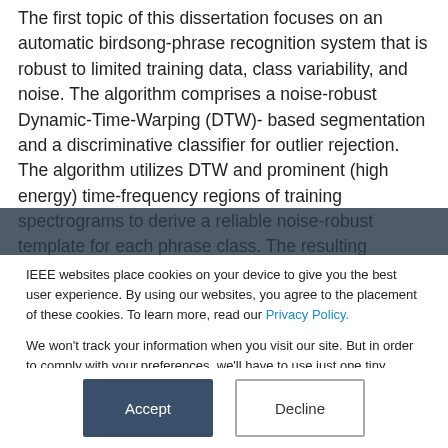The first topic of this dissertation focuses on an automatic birdsong-phrase recognition system that is robust to limited training data, class variability, and noise. The algorithm comprises a noise-robust Dynamic-Time-Warping (DTW)- based segmentation and a discriminative classifier for outlier rejection. The algorithm utilizes DTW and prominent (high energy) time-frequency regions of training spectrograms to derive a reliable noise-robust template for each phrase class. The resulting template is then used for segmenting continuous recordings to obtain segment candidates whose spectrogram amplitudes in
IEEE websites place cookies on your device to give you the best user experience. By using our websites, you agree to the placement of these cookies. To learn more, read our Privacy Policy.

We won't track your information when you visit our site. But in order to comply with your preferences, we'll have to use just one tiny cookie so that you're not asked to make this choice again.
Accept
Decline